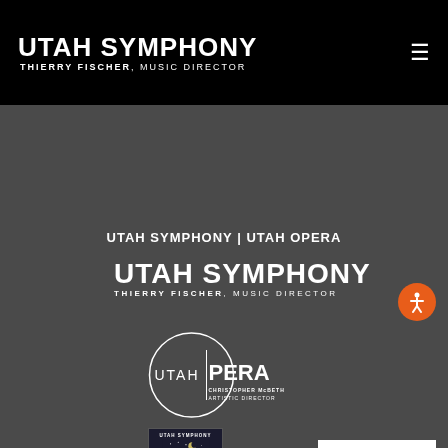[Figure (logo): Utah Symphony header logo with text 'UTAH SYMPHONY' and 'THIERRY FISCHER, MUSIC DIRECTOR' on black background with hamburger menu icon]
UTAH SYMPHONY | UTAH OPERA
[Figure (logo): Utah Symphony logo: large bold 'UTAH SYMPHONY' with 'THIERRY FISCHER, MUSIC DIRECTOR' subtitle in white on dark background]
[Figure (logo): Utah Opera circular logo with 'UTAH|PERA' text and 'CHRISTOPHER McBETH ARTISTIC DIRECTOR' on dark background]
[Figure (logo): Utah Symphony Deer Valley Music Festival logo in dark box with night scene illustration]
[Figure (other): Orange circular accessibility icon button with person figure]
English >